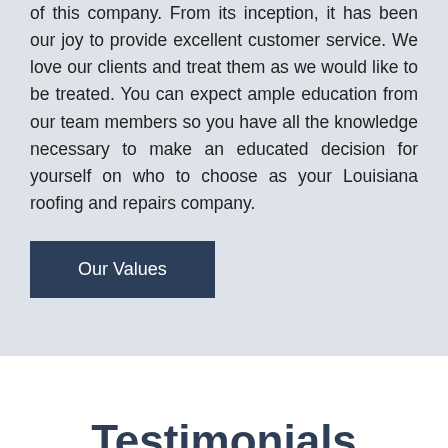of this company. From its inception, it has been our joy to provide excellent customer service. We love our clients and treat them as we would like to be treated. You can expect ample education from our team members so you have all the knowledge necessary to make an educated decision for yourself on who to choose as your Louisiana roofing and repairs company.
Our Values
Testimonials